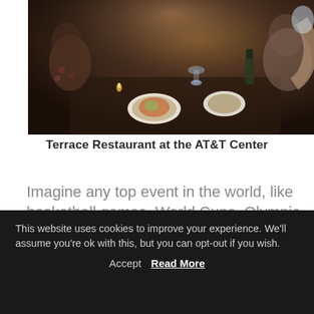[Figure (photo): Restaurant dining scene showing people seated at dark tables with food, plates, glasses and drinks, taken in a dimly lit upscale restaurant setting.]
Terrace Restaurant at the AT&T Center
Imagine any top event in the world, like basketball games, World Cups, Olympic Games,... As a journalist, I've been to the VIP areas of several major tournaments worldwide, and I was very impressed with how nice everything was. We were guests of The St. Anthony Hotel, which
This website uses cookies to improve your experience. We'll assume you're ok with this, but you can opt-out if you wish. Accept Read More